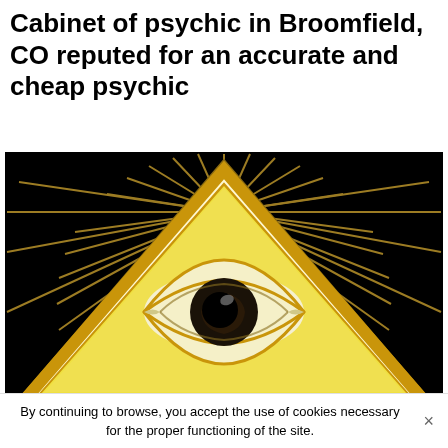Cabinet of psychic in Broomfield, CO reputed for an accurate and cheap psychic
[Figure (illustration): All-seeing eye of Providence — a golden triangle with a stylized eye in the center, surrounded by radiating golden rays, set against a black background. The eye has a dark iris and white sclera. The triangle has a gold border with a white inner edge.]
By continuing to browse, you accept the use of cookies necessary for the proper functioning of the site.